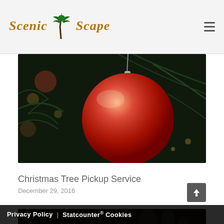Scenic Scape (logo with palm tree, hamburger menu)
[Figure (photo): Close-up photo of a glittery red Christmas ornament ball hanging on a dark green pine tree branch with bokeh lights in background]
Christmas Tree Pickup Service
December 29, 2016
[Figure (photo): Blurred photo of outdoor scene with fallen leaves and blurry figures in background, dark tones]
Privacy Policy | Statcounter® Cookies